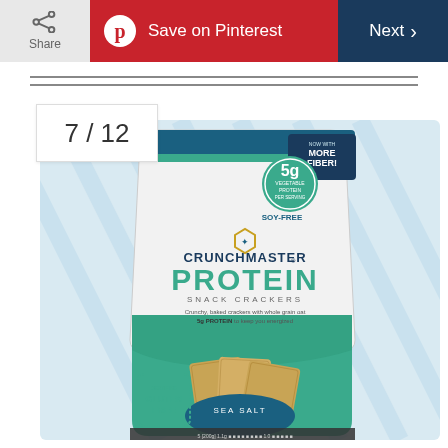Share | Save on Pinterest | Next
7 / 12
[Figure (photo): Crunchmaster Protein Snack Crackers Sea Salt bag. White bag with teal/green lower section. Features: 5g vegetable protein per serving, Soy-Free, NOW WITH MORE FIBER!, Certified Gluten Free. Text: Crunchy, baked crackers with whole grain oat. 5g PROTEIN to keep you energized. Shows crackers on front, SEA SALT label on bag.]